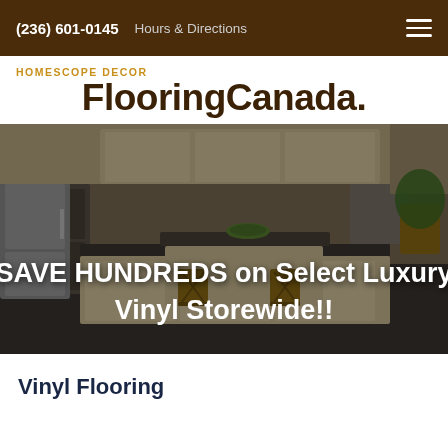(236) 601-0145   Hours & Directions
HOMESCOPE DECOR
FlooringCanada.
[Figure (photo): Hero banner showing a kitchen with dark vinyl flooring, wood cabinets, and bar stools. Overlay text reads: SAVE HUNDREDS on Select Luxury Vinyl Storewide!!]
Vinyl Flooring